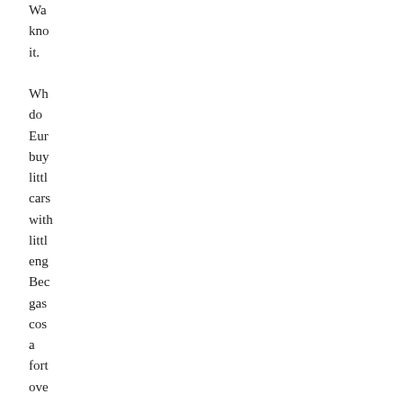Wa kno it. Wh do Eur buy littl cars with littl eng Bec gas cos a fort ove ther As lon as gas